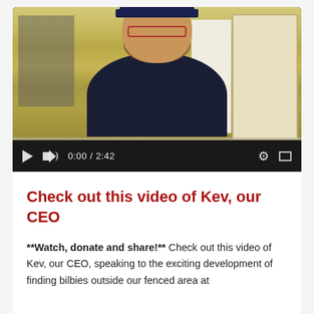[Figure (screenshot): Video player screenshot showing a bearded man wearing a dark baseball cap and glasses, seated in front of a yellowish indoor background. Video controls show play button, volume icon, timestamp '0:00 / 2:42', settings gear icon, and fullscreen button.]
Check out this video of Kev, our CEO
**Watch, donate and share!** Check out this video of Kev, our CEO, speaking to the exciting development of finding bilbies outside our fenced area at